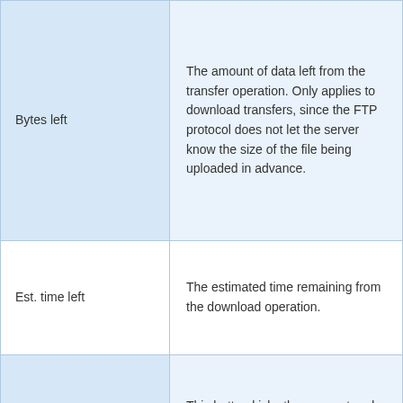| Term | Description |
| --- | --- |
| Bytes left | The amount of data left from the transfer operation. Only applies to download transfers, since the FTP protocol does not let the server know the size of the file being uploaded in advance. |
| Est. time left | The estimated time remaining from the download operation. |
| Kick | This button kicks the user out and terminates the connection. |
|  | This button kicks and then bans the user from the FTP server. Only applies to FTP users, and not |